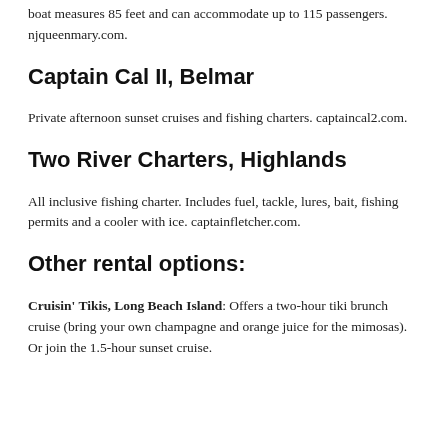boat measures 85 feet and can accommodate up to 115 passengers. njqueenmary.com.
Captain Cal II, Belmar
Private afternoon sunset cruises and fishing charters. captaincal2.com.
Two River Charters, Highlands
All inclusive fishing charter. Includes fuel, tackle, lures, bait, fishing permits and a cooler with ice. captainfletcher.com.
Other rental options:
Cruisin' Tikis, Long Beach Island: Offers a two-hour tiki brunch cruise (bring your own champagne and orange juice for the mimosas). Or join the 1.5-hour sunset cruise.